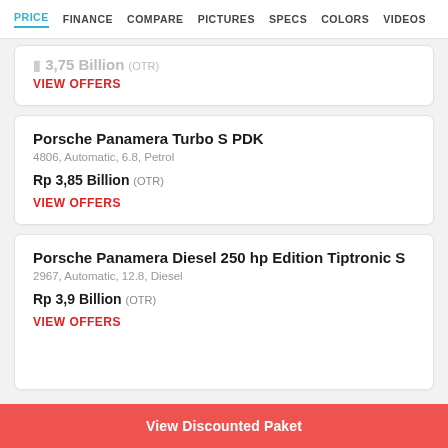PRICE | FINANCE | COMPARE | PICTURES | SPECS | COLORS | VIDEOS
Rp 3,75 Billion (OTR) [partially visible card]
VIEW OFFERS
Porsche Panamera Turbo S PDK
4806, Automatic, 6.8, Petrol
Rp 3,85 Billion (OTR)
VIEW OFFERS
Porsche Panamera Diesel 250 hp Edition Tiptronic S
2967, Automatic, 12.8, Diesel
Rp 3,9 Billion (OTR)
VIEW OFFERS
View Discounted Paket